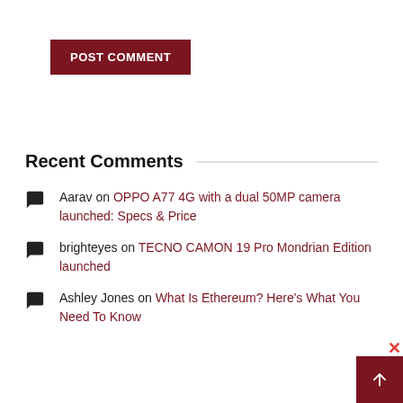[Figure (other): POST COMMENT button with dark red background and white uppercase text]
Recent Comments
Aarav on OPPO A77 4G with a dual 50MP camera launched: Specs & Price
brighteyes on TECNO CAMON 19 Pro Mondrian Edition launched
Ashley Jones on What Is Ethereum? Here's What You Need To Know